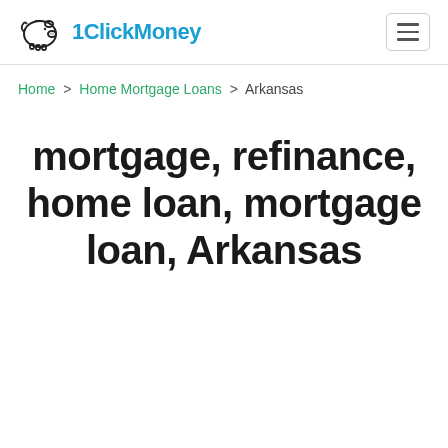1ClickMoney
Home > Home Mortgage Loans > Arkansas
mortgage, refinance, home loan, mortgage loan, Arkansas